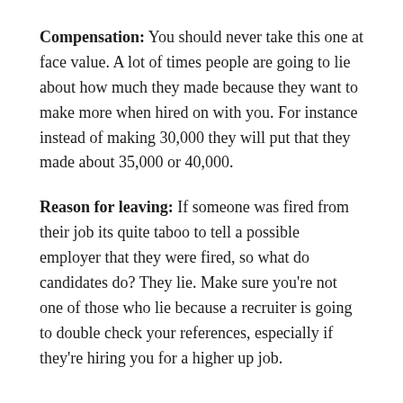Compensation: You should never take this one at face value. A lot of times people are going to lie about how much they made because they want to make more when hired on with you. For instance instead of making 30,000 they will put that they made about 35,000 or 40,000.
Reason for leaving: If someone was fired from their job its quite taboo to tell a possible employer that they were fired, so what do candidates do? They lie. Make sure you're not one of those who lie because a recruiter is going to double check your references, especially if they're hiring you for a higher up job.